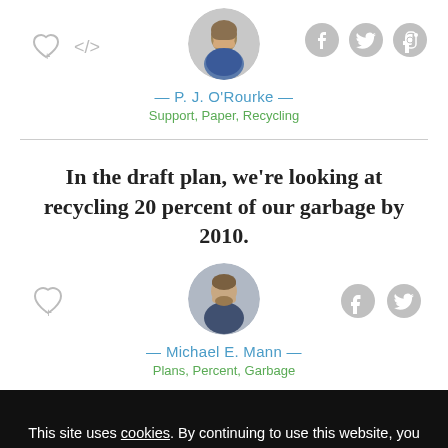[Figure (photo): Circular avatar photo of P. J. O'Rourke]
— P. J. O'Rourke —
Support, Paper, Recycling
In the draft plan, we're looking at recycling 20 percent of our garbage by 2010.
[Figure (photo): Circular avatar photo of Michael E. Mann]
— Michael E. Mann —
Plans, Percent, Garbage
This site uses cookies. By continuing to use this website, you agree to our policies regarding the use of cookies.